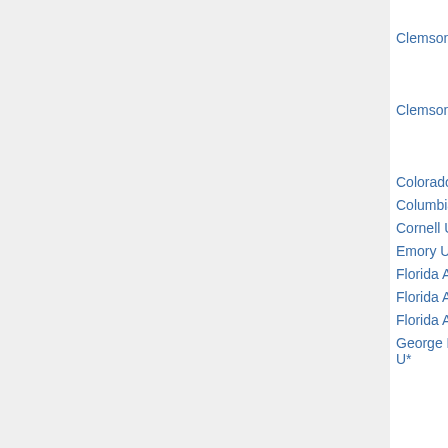| Institution | Specialty | Deadline | Names |
| --- | --- | --- | --- |
| Wa... |  |  |  |
| Clemson U* | optimization |  | Ray...
Hen...
Juli... |
| Clemson U* | statistics |  | Eri...
Jon...
Sta... |
| Colorado St* | materials |  | □ |
| Columbia U (s)* | finance |  |  |
| Cornell U* | all (2) | Nov 1 |  |
| Emory U* | discrete |  |  |
| Florida Atlantic U | analysis |  | Eri... |
| Florida Atlantic U | biostatistics |  |  |
| Florida Atlantic U | computational |  |  |
| George Mason U* | topology | Nov 15 | Mie...
Bra...
Dav...
Car...
Mo...
Chr...
Qa...
Rob... |